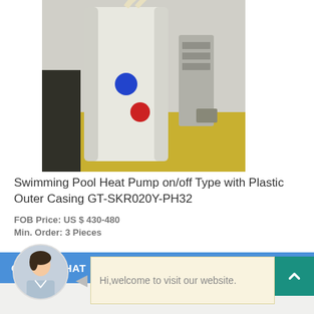[Figure (photo): Photo of a Swimming Pool Heat Pump unit with white cylindrical casing, blue and red port indicators, and hose connections, placed on yellow surface in industrial setting]
Swimming Pool Heat Pump on/off Type with Plastic Outer Casing GT-SKR020Y-PH32
FOB Price: US $ 430-480
Min. Order: 3 Pieces
Get Best Quote
Energy Efficiency Grade: One
ONLINE CHAT
[Figure (photo): Avatar photo of a female customer service representative named Cilina, wearing a light blue shirt]
Hi,welcome to visit our website.
Cilina